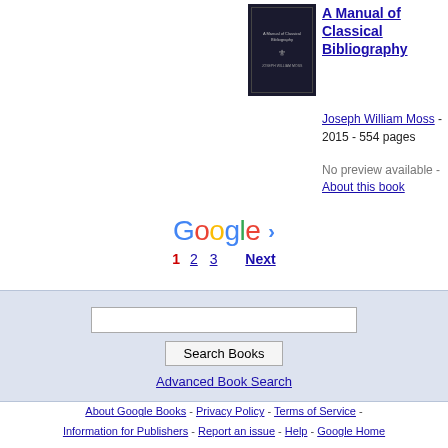[Figure (photo): Book cover of A Manual of Classical Bibliography, dark/black cover with small text and emblem]
A Manual of Classical Bibliography
Joseph William Moss - 2015 - 554 pages
No preview available - About this book
[Figure (logo): Google logo with pagination: 1 2 3 Next and right arrow]
Search Books input and Advanced Book Search
About Google Books - Privacy Policy - Terms of Service - Information for Publishers - Report an issue - Help - Google Home